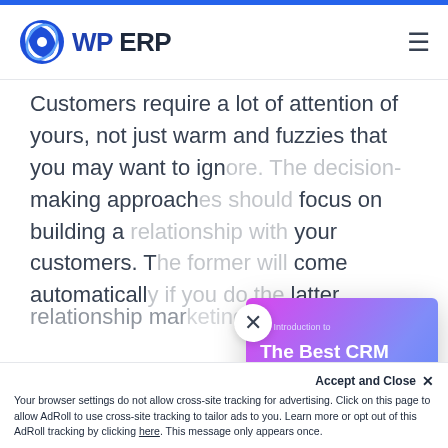WP ERP
Customers require a lot of attention of yours, not just warm and fuzzies that you may want to ign... making approach... focus on building a... your customers. T... come automatical... latter.
[Figure (illustration): Popup showing a book cover: 'An Introduction to The Best CRM Plugins for WordPress' with a colorful CRM illustration. Has a close (X) button.]
Most if not all mo... are trying to impr... relationship mar...
Relationships with Clients
Accept and Close ✕ Your browser settings do not allow cross-site tracking for advertising. Click on this page to allow AdRoll to use cross-site tracking to tailor ads to you. Learn more or opt out of this AdRoll tracking by clicking here. This message only appears once.